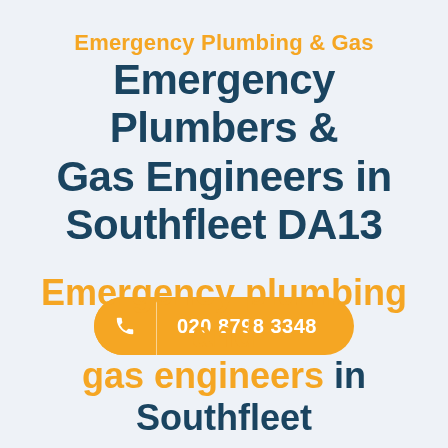Emergency Plumbing & Gas
Emergency Plumbers & Gas Engineers in Southfleet DA13
020 8798 3348
Emergency plumbing and gas engineers in Southfleet